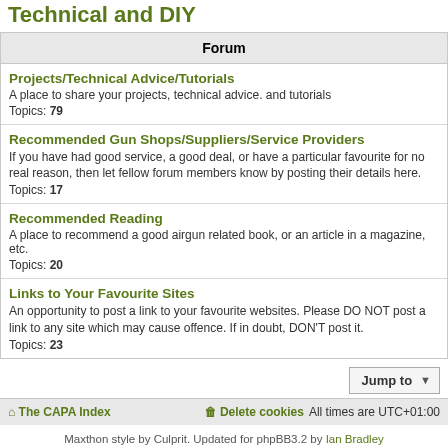Technical and DIY
| Forum |
| --- |
| Projects/Technical Advice/Tutorials
A place to share your projects, technical advice. and tutorials
Topics: 79 |
| Recommended Gun Shops/Suppliers/Service Providers
If you have had good service, a good deal, or have a particular favourite for no real reason, then let fellow forum members know by posting their details here.
Topics: 17 |
| Recommended Reading
A place to recommend a good airgun related book, or an article in a magazine, etc.
Topics: 20 |
| Links to Your Favourite Sites
An opportunity to post a link to your favourite websites. Please DO NOT post a link to any site which may cause offence. If in doubt, DON'T post it.
Topics: 23 |
The CAPA Index | Delete cookies  All times are UTC+01:00
Maxthon style by Culprit. Updated for phpBB3.2 by Ian Bradley
Powered by phpBB® Forum Software © phpBB Limited
Privacy | Terms